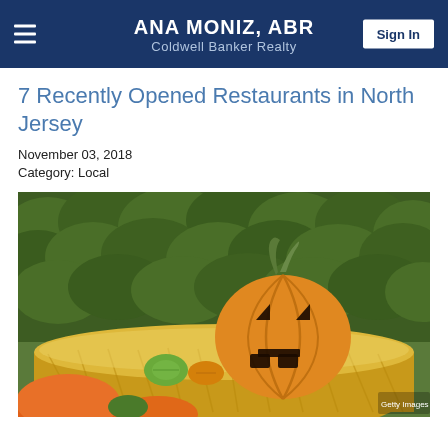ANA MONIZ, ABR
Coldwell Banker Realty
7 Recently Opened Restaurants in North Jersey
November 03, 2018
Category: Local
[Figure (photo): A carved jack-o-lantern pumpkin sitting on a hay bale, with small gourds nearby and a dense green hedge in the background. Orange pumpkins visible at the bottom.]